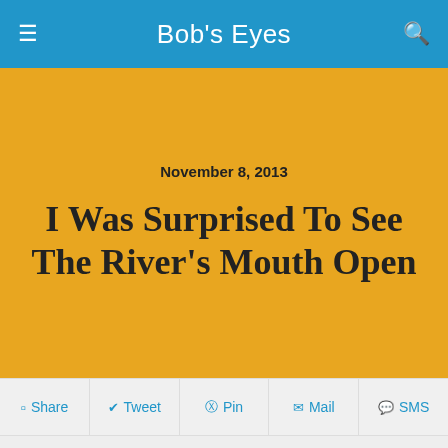Bob's Eyes
November 8, 2013
I Was Surprised To See The River's Mouth Open
Share  Tweet  Pin  Mail  SMS
Friday November 8, 2013 Jenner, CA.
I headed to Jenner to Kayak today
As I approached Jenner this morning to kayak, I was surprised to see the river level had dropped indicating